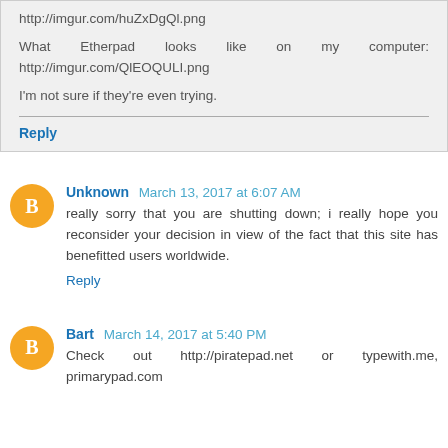http://imgur.com/huZxDgQl.png
What Etherpad looks like on my computer: http://imgur.com/QlEOQULI.png
I'm not sure if they're even trying.
Reply
Unknown March 13, 2017 at 6:07 AM
really sorry that you are shutting down; i really hope you reconsider your decision in view of the fact that this site has benefitted users worldwide.
Reply
Bart March 14, 2017 at 5:40 PM
Check out http://piratepad.net or typewith.me, primarypad.com